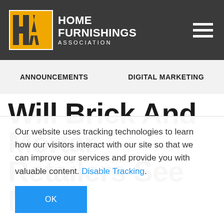[Figure (logo): Home Furnishings Association logo with yellow/gold geometric HA mark and white text on dark gray header bar with hamburger menu icon]
ANNOUNCEMENTS   DIGITAL MARKETING
Will Brick And Mortar Retailers See More
Our website uses tracking technologies to learn how our visitors interact with our site so that we can improve our services and provide you with valuable content. Disable Tracking.
OK